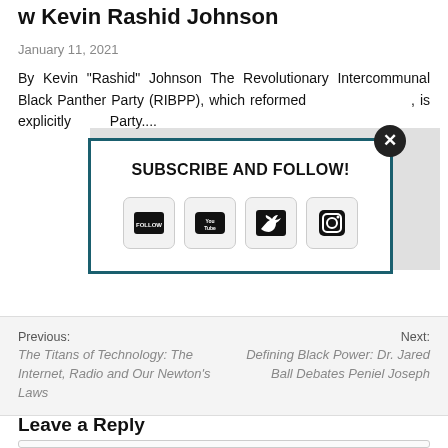w Kevin Rashid Johnson
January 11, 2021
By Kevin "Rashid" Johnson The Revolutionary Intercommunal Black Panther Party (RIBPP), which reformed[...], is explicitly[...] Party....
[Figure (screenshot): Subscribe and Follow modal overlay with social media icons (Follow, YouTube, Twitter, Instagram) and a close button]
Previous:
Next:
The Titans of Technology: The Internet, Radio and Our Newton's Laws
Defining Black Power: Dr. Jared Ball Debates Peniel Joseph
Leave a Reply
Enter your comment here...